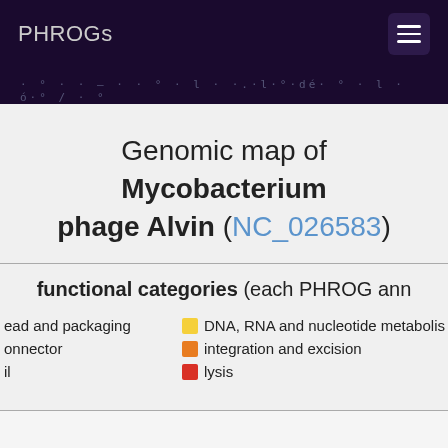PHROGs
Genomic map of Mycobacterium phage Alvin (NC_026583)
functional categories (each PHROG ann...
head and packaging — DNA, RNA and nucleotide metabolism
connector — integration and excision
il — lysis